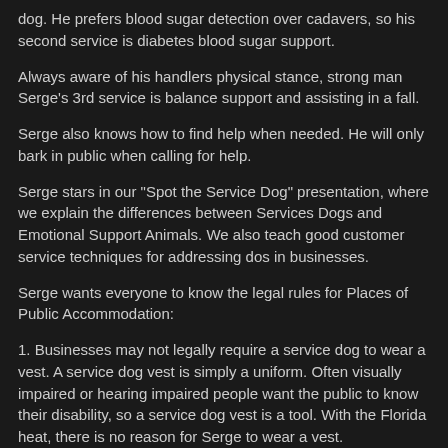dog. He prefers blood sugar detection over cadavers, so his second service is diabetes blood sugar support.
Always aware of his handlers physical stance, strong man Serge's 3rd service is balance support and assisting in a fall.
Serge also knows how to find help when needed. He will only bark in public when calling for help.
Serge stars in our "Spot the Service Dog" presentation, where we explain the differences between Services Dogs and Emotional Support Animals. We also teach good customer service techniques for addressing dos in businesses.
Serge wants everyone to know the legal rules for Places of Public Accommodation:
1. Businesses may not legally require a service dog to wear a vest. A service dog vest is simply a uniform. Often visually impaired or hearing impaired people want the public to know their disability, so a service dog vest is a tool. With the Florida heat, there is no reason for Serge to wear a vest.
2. Businesses may not legally request service dog papers. The Department of Justice and the ADA do not acknowledge any "Service